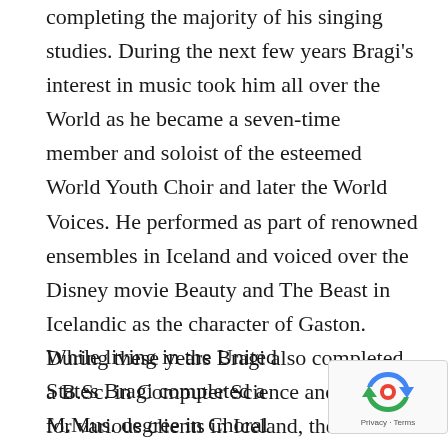completing the majority of his singing studies. During the next few years Bragi's interest in music took him all over the World as he became a seven-time member and soloist of the esteemed World Youth Choir and later the World Voices. He performed as part of renowned ensembles in Iceland and voiced over the Disney movie Beauty and The Beast in Icelandic as the character of Gaston. During these years Bragi also completed a B.Sc. in Computer Science and worked for various clients in Iceland, the United Kingdom and the United States in a music-IT capacity.
While living in the United States Bragi completed a M.Mus. degree in Choral Conducting from Dr An Thomas at Florida State University. During his studies